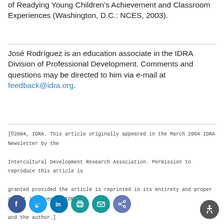of Readying Young Children's Achievement and Classroom Experiences (Washington, D.C.: NCES, 2003).
José Rodríguez is an education associate in the IDRA Division of Professional Development. Comments and questions may be directed to him via e-mail at feedback@idra.org.
[©2004, IDRA. This article originally appeared in the March 2004 IDRA Newsletter by the Intercultural Development Research Association. Permission to reproduce this article is granted provided the article is reprinted in its entirety and proper credit is given to IDRA and the author.]
[Figure (infographic): Row of social media share icons: Facebook, Twitter, LinkedIn, Print, Email, Share]